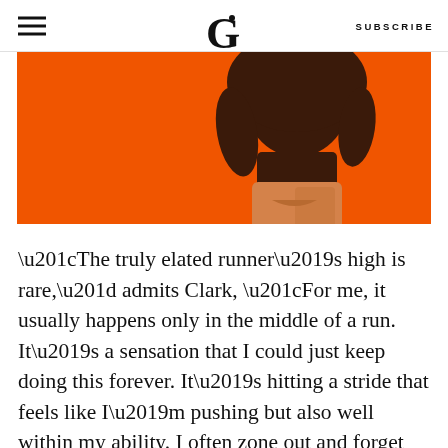G   SUBSCRIBE
[Figure (photo): Person wearing a dark brown hoodie and orange/tan shorts running or posing against a bright orange background. Only the torso and lower body are visible, cropped at the top.]
“The truly elated runner’s high is rare,” admits Clark, “For me, it usually happens only in the middle of a run. It’s a sensation that I could just keep doing this forever. It’s hitting a stride that feels like I’m pushing but also well within my ability. I often zone out and forget that I’m even running. Sometimes that’s a